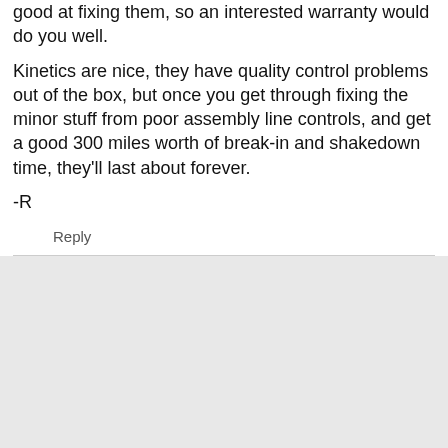good at fixing them, so an interested warranty would do you well.
Kinetics are nice, they have quality control problems out of the box, but once you get through fixing the minor stuff from poor assembly line controls, and get a good 300 miles worth of break-in and shakedown time, they'll last about forever.
-R
Reply